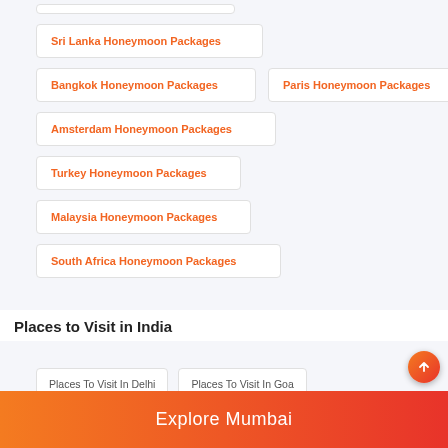Sri Lanka Honeymoon Packages
Bangkok Honeymoon Packages
Paris Honeymoon Packages
Amsterdam Honeymoon Packages
Turkey Honeymoon Packages
Malaysia Honeymoon Packages
South Africa Honeymoon Packages
Places to Visit in India
Places To Visit In Delhi
Places To Visit In Goa
Explore Mumbai